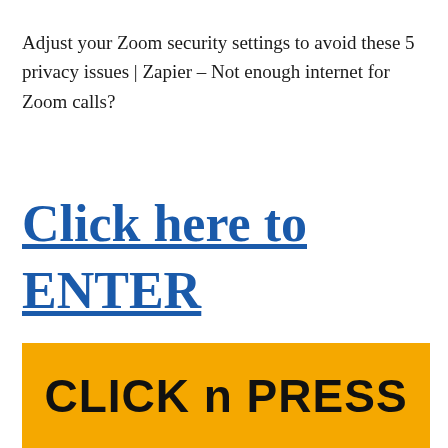Adjust your Zoom security settings to avoid these 5 privacy issues | Zapier – Not enough internet for Zoom calls?
Click here to ENTER
[Figure (other): Orange/yellow button with text 'CLICK n PRESS' in bold black sans-serif font]